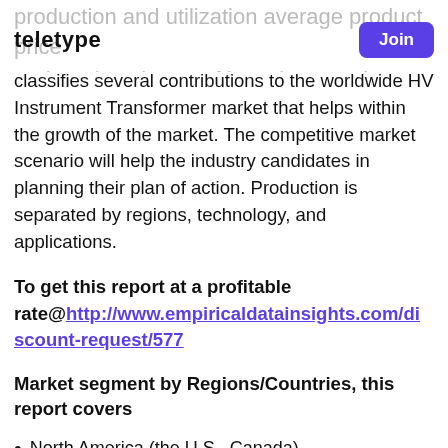production and utilization average product price and market shares of key players. The report
TELETYPE | Join
classifies several contributions to the worldwide HV Instrument Transformer market that helps within the growth of the market. The competitive market scenario will help the industry candidates in planning their plan of action. Production is separated by regions, technology, and applications.
To get this report at a profitable rate@http://www.empiricaldatainsights.com/discount-request/577
Market segment by Regions/Countries, this report covers
North America (the U.S., Canada)
Latin America (Brazil, Mexico, Argentina and other countries)